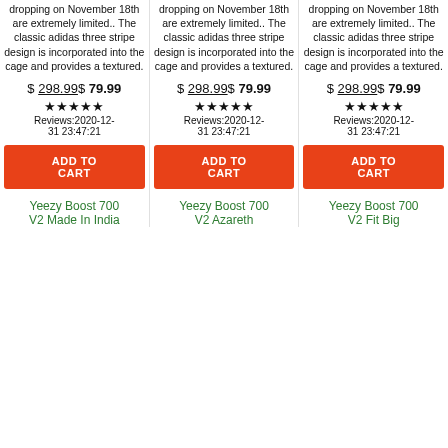dropping on November 18th are extremely limited.. The classic adidas three stripe design is incorporated into the cage and provides a textured.
dropping on November 18th are extremely limited.. The classic adidas three stripe design is incorporated into the cage and provides a textured.
dropping on November 18th are extremely limited.. The classic adidas three stripe design is incorporated into the cage and provides a textured.
$ 298.99$ 79.99
$ 298.99$ 79.99
$ 298.99$ 79.99
★★★★★ Reviews:2020-12-31 23:47:21
★★★★★ Reviews:2020-12-31 23:47:21
★★★★★ Reviews:2020-12-31 23:47:21
ADD TO CART
ADD TO CART
ADD TO CART
Yeezy Boost 700 V2 Made In India
Yeezy Boost 700 V2 Azareth
Yeezy Boost 700 V2 Fit Big